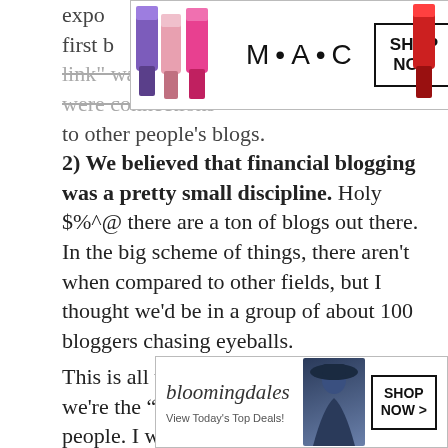expo... ...he first b... ...ack link" was and I thought affiliate links were connections to other people's blogs.
[Figure (advertisement): MAC cosmetics ad with lipsticks and SHOP NOW button]
2) We believed that financial blogging was a pretty small discipline. Holy $%^@ there are a ton of blogs out there. In the big scheme of things, there aren't when compared to other fields, but I thought we'd be in a group of about 100 bloggers chasing eyeballs.
This is all the more laughable because we're the “do your homework” kind of people. I was never the “here, I'll take your financial plan and do it for you” kind of advisor. I was always the “I'm going to teac... what you n... ...we've done... ...ored
[Figure (advertisement): Bloomingdales ad with CLOSE button and SHOP NOW]
[Figure (other): CLOSE button overlay]